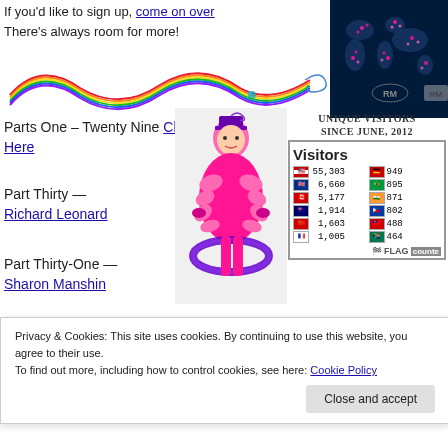If you'd like to sign up, come on over There's always room for more!
[Figure (illustration): Rainbow wave decorative divider]
[Figure (map): World map with visitor dots, dark blue background]
Parts One – Twenty Nine Click Here
Part Thirty — Richard Leonard
Part Thirty-One — Sharon Manshin
[Figure (photo): Person in bright pink feathered costume with purple hat]
[Figure (infographic): Visitors counter widget showing UNIQUE VISITORS SINCE JUNE, 2012 with flag counts]
Privacy & Cookies: This site uses cookies. By continuing to use this website, you agree to their use. To find out more, including how to control cookies, see here: Cookie Policy